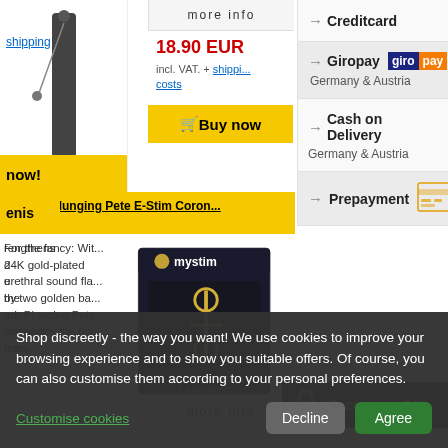more info
18.90 EUR
incl. VAT. + shipping costs
Buy now
→ Creditcard
→ Giropay
Germany & Austria
→ Cash on Delivery
Germany & Austria
→ Prepayment
Mystim Plunging Pete E-Stim Coron... Strap
For the fancy: Wit... 24K gold-plated urethral sound fla... by two golden ba... our Plunging Pete... stimulates the gla... from...
[Figure (other): Mystim Plunging Pete product box image]
Secure via SSL
Shop discreetly - the way you want! We use cookies to improve your browsing experience and to show you suitable offers. Of course, you can also customise them according to your personal preferences.
Customise cookies
Decline
Agree